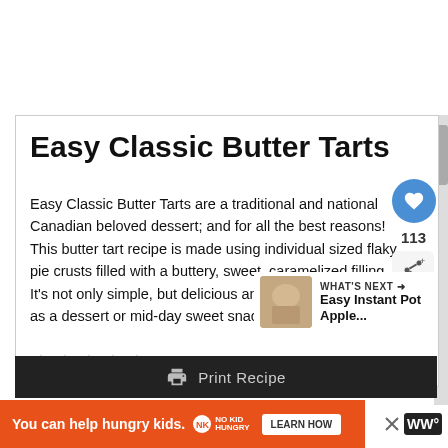Easy Classic Butter Tarts
Easy Classic Butter Tarts are a traditional and national Canadian beloved dessert; and for all the best reasons! This butter tart recipe is made using individual sized flaky pie crusts filled with a buttery, sweet, caramelized filling. It's not only simple, but delicious and tasty as well! Serve as a dessert or mid-day sweet snack.
No ratings yet
WHAT'S NEXT → Easy Instant Pot Apple...
Print Recipe
You can help hungry kids. NO KID HUNGRY LEARN HOW